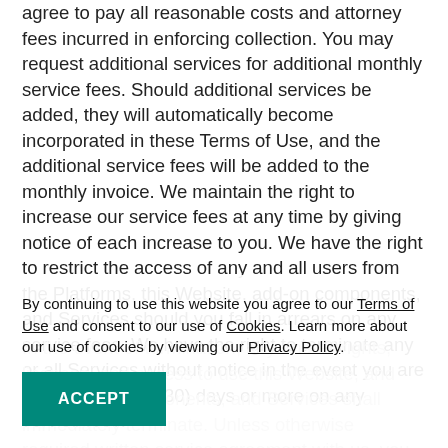agree to pay all reasonable costs and attorney fees incurred in enforcing collection. You may request additional services for additional monthly service fees. Should additional services be added, they will automatically become incorporated in these Terms of Use, and the additional service fees will be added to the monthly invoice. We maintain the right to increase our service fees at any time by giving notice of each increase to you. We have the right to restrict the access of any and all users from the Platforms, this Website, add-on components, and Services should you fall in arrears on any service fees. We have the right to terminate any or all Services without notice in the event you are delinquent thirty (30) days or more on any service fees.
In the event of termination, any and all rights, licenses, and access to use this Website, and any add-on components, and Services shall immediately terminate. Unless otherwise required written service agreement with us, you right to cancel Services with a sixty (60) day prior written notice of your intent to terminate Services. Your
By continuing to use this website you agree to our Terms of Use and consent to our use of Cookies. Learn more about our use of cookies by viewing our Privacy Policy.